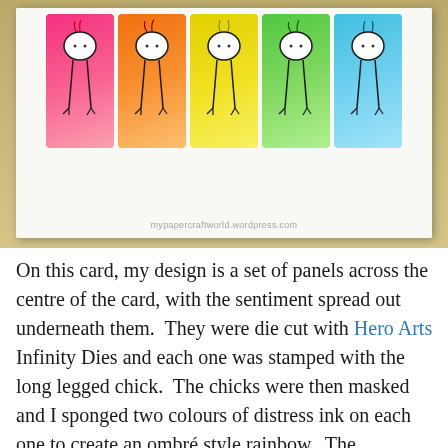[Figure (photo): A handmade greeting card photographed on a wooden table. The card features five colored rectangular panels (pink, orange, yellow, green, blue) each with a long-legged chick stamp, creating an ombre rainbow effect. Below the panels is handwritten/stamped sentiment text. A watermark reads mypapercraftworld.wordpress.com.]
On this card, my design is a set of panels across the centre of the card, with the sentiment spread out underneath them.  They were die cut with Hero Arts Infinity Dies and each one was stamped with the long legged chick.  The chicks were then masked and I sponged two colours of distress ink on each one to create an ombré style rainbow.  The sentiment (from Concord & 9th) was